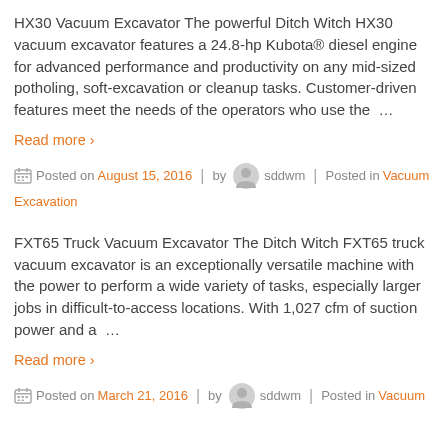HX30 Vacuum Excavator The powerful Ditch Witch HX30 vacuum excavator features a 24.8-hp Kubota® diesel engine for advanced performance and productivity on any mid-sized potholing, soft-excavation or cleanup tasks. Customer-driven features meet the needs of the operators who use the …
Read more ›
Posted on August 15, 2016 | by sddwm | Posted in Vacuum Excavation
FXT65 Truck Vacuum Excavator The Ditch Witch FXT65 truck vacuum excavator is an exceptionally versatile machine with the power to perform a wide variety of tasks, especially larger jobs in difficult-to-access locations. With 1,027 cfm of suction power and a …
Read more ›
Posted on March 21, 2016 | by sddwm | Posted in Vacuum